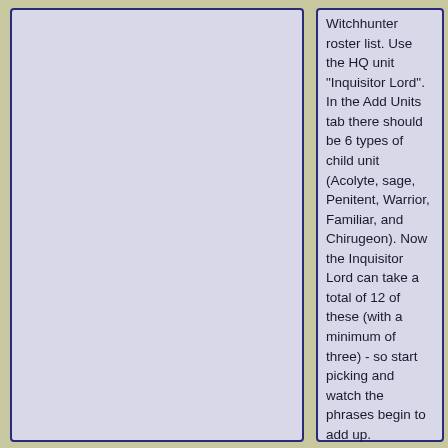Witchhunter roster list. Use the HQ unit "Inquisitor Lord". In the Add Units tab there should be 6 types of child unit (Acolyte, sage, Penitent, Warrior, Familiar, and Chirugeon). Now the Inquisitor Lord can take a total of 12 of these (with a minimum of three) - so start picking and watch the phrases begin to add up.

Note that when adding, use the link button instead of upping their number using +/-. (In some cases it's better that way, but some can be very different from each other, even if they are the same type of choice). In the